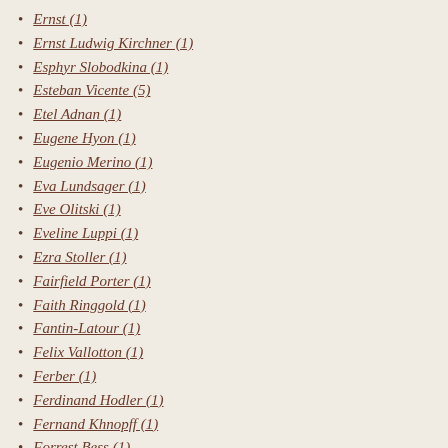Ernst (1)
Ernst Ludwig Kirchner (1)
Esphyr Slobodkina (1)
Esteban Vicente (5)
Etel Adnan (1)
Eugene Hyon (1)
Eugenio Merino (1)
Eva Lundsager (1)
Eve Olitski (1)
Eveline Luppi (1)
Ezra Stoller (1)
Fairfield Porter (1)
Faith Ringgold (1)
Fantin-Latour (1)
Felix Vallotton (1)
Ferber (1)
Ferdinand Hodler (1)
Fernand Khnopff (1)
Forrest Bess (1)
Forrest Myers (1)
Fragonard (1)
Fran Kornfeld (4)
Francine Tint (10)
Francis Alys (1)
Francis Picabia (1)